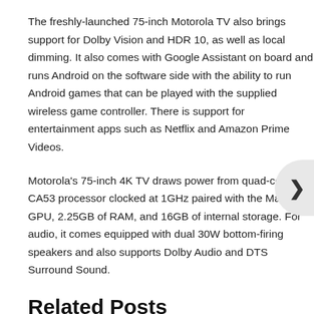The freshly-launched 75-inch Motorola TV also brings support for Dolby Vision and HDR 10, as well as local dimming. It also comes with Google Assistant on board and runs Android on the software side with the ability to run Android games that can be played with the supplied wireless game controller. There is support for entertainment apps such as Netflix and Amazon Prime Videos.
Motorola's 75-inch 4K TV draws power from quad-core CA53 processor clocked at 1GHz paired with the Mali 450 GPU, 2.25GB of RAM, and 16GB of internal storage. For audio, it comes equipped with dual 30W bottom-firing speakers and also supports Dolby Audio and DTS Surround Sound.
Related Posts